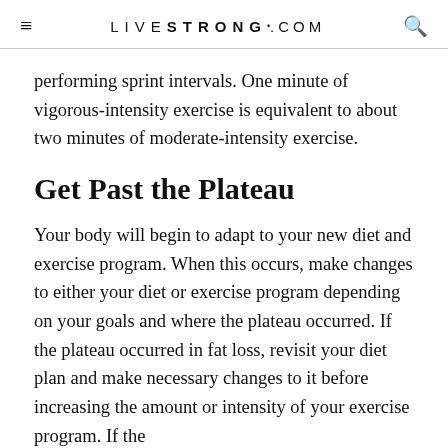LIVESTRONG.COM
performing sprint intervals. One minute of vigorous-intensity exercise is equivalent to about two minutes of moderate-intensity exercise.
Get Past the Plateau
Your body will begin to adapt to your new diet and exercise program. When this occurs, make changes to either your diet or exercise program depending on your goals and where the plateau occurred. If the plateau occurred in fat loss, revisit your diet plan and make necessary changes to it before increasing the amount or intensity of your exercise program. If the